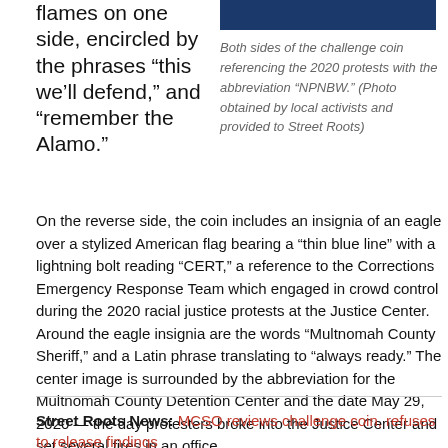flames on one side, encircled by the phrases “this we’ll defend,” and “remember the Alamo.”
[Figure (photo): Dark blue rectangular image, top portion of challenge coin photo]
Both sides of the challenge coin referencing the 2020 protests with the abbreviation “NPNBW.” (Photo obtained by local activists and provided to Street Roots)
On the reverse side, the coin includes an insignia of an eagle over a stylized American flag bearing a “thin blue line” with a lightning bolt reading “CERT,” a reference to the Corrections Emergency Response Team which engaged in crowd control during the 2020 racial justice protests at the Justice Center. Around the eagle insignia are the words “Multnomah County Sheriff,” and a Latin phrase translating to “always ready.” The center image is surrounded by the abbreviation for the Multnomah County Detention Center and the date May 29, 2020 — the day protesters broke into the Justice Center and set several fires in an office.
Street Roots News: MCSO reviews challenge coin, refuses to release findings